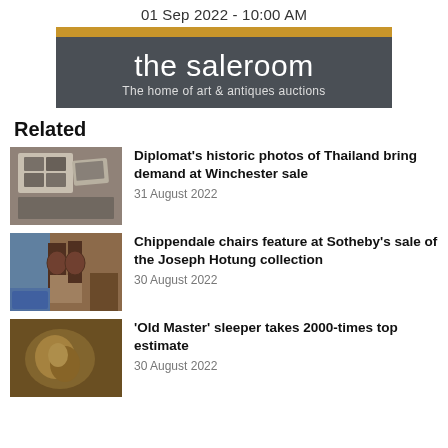01 Sep 2022 - 10:00 AM
[Figure (logo): The Saleroom logo banner with gold top bar and dark grey background. Text: 'the saleroom' and 'The home of art & antiques auctions']
Related
[Figure (photo): Open book or album with historic black and white photographs]
Diplomat's historic photos of Thailand bring demand at Winchester sale
31 August 2022
[Figure (photo): Antique Chippendale chairs in a room setting]
Chippendale chairs feature at Sotheby's sale of the Joseph Hotung collection
30 August 2022
[Figure (photo): Old Master painting with dark tones]
'Old Master' sleeper takes 2000-times top estimate
30 August 2022